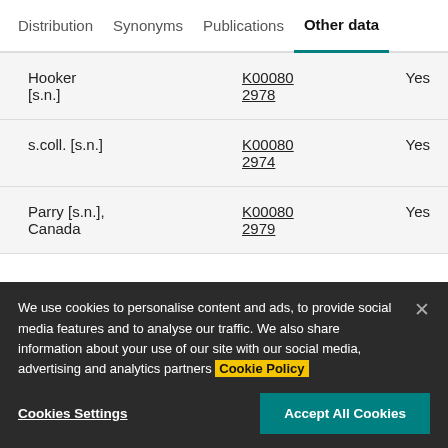Distribution  Synonyms  Publications  Other data
|  |  |  |
| --- | --- | --- |
| Hooker [s.n.] | K00080
2978 | Yes |
| s.coll. [s.n.] | K00080
2974 | Yes |
| Parry [s.n.], Canada | K00080
2979 | Yes |
We use cookies to personalise content and ads, to provide social media features and to analyse our traffic. We also share information about your use of our site with our social media, advertising and analytics partners Cookie Policy
Cookies Settings  Accept All Cookies